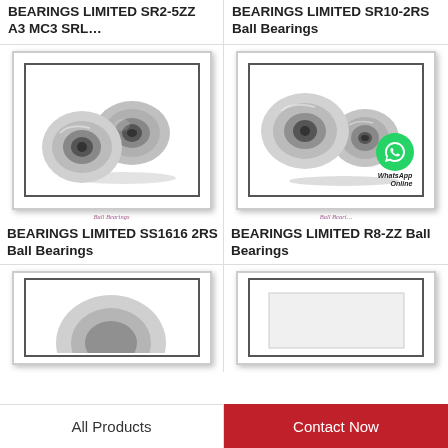BEARINGS LIMITED SR2-5ZZ A3 MC3 SRL…
BEARINGS LIMITED SR10-2RS Ball Bearings
[Figure (photo): Two steel ball bearings with shield enclosures, showing double-row configuration, with label 'Ball Bearings']
BEARINGS LIMITED SS1616 2RS Ball Bearings
[Figure (photo): Two steel shielded ball bearings with WhatsApp Online overlay icon, with label 'Ball Bearings']
BEARINGS LIMITED R8-ZZ Ball Bearings
[Figure (photo): Partial view of ball bearing (bottom row, left)]
[Figure (photo): Partial view of ball bearing (bottom row, right)]
All Products
Contact Now